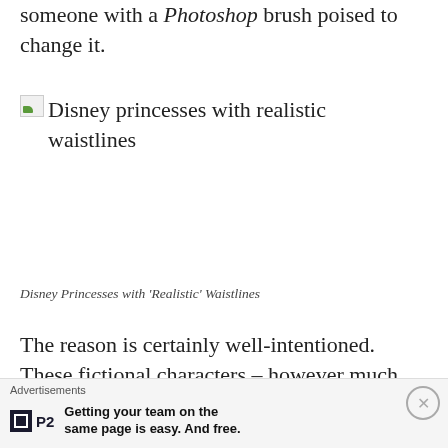someone with a Photoshop brush poised to change it.
[Figure (illustration): Broken image placeholder with alt text 'Disney princesses with realistic waistlines']
Disney Princesses with 'Realistic' Waistlines
The reason is certainly well-intentioned. These fictional characters – however much we kid ourselves – are intended for the
Advertisements
Getting your team on the same page is easy. And free.